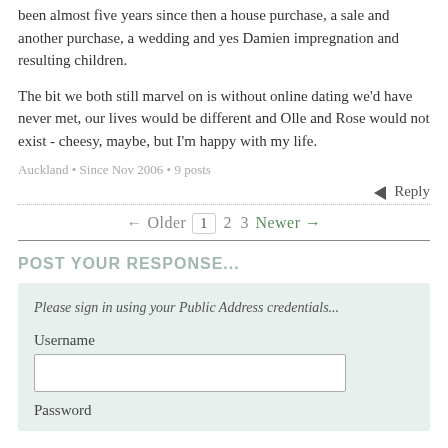been almost five years since then a house purchase, a sale and another purchase, a wedding and yes Damien impregnation and resulting children.
The bit we both still marvel on is without online dating we'd have never met, our lives would be different and Olle and Rose would not exist - cheesy, maybe, but I'm happy with my life.
Auckland • Since Nov 2006 • 9 posts
Reply
← Older  1  2  3  Newer →
POST YOUR RESPONSE...
Please sign in using your Public Address credentials...
Username
Password